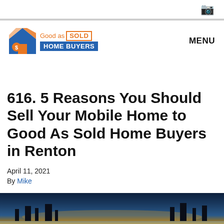[Figure (logo): Good as Sold Home Buyers logo with house icon, orange and blue colors]
MENU
616. 5 Reasons You Should Sell Your Mobile Home to Good As Sold Home Buyers in Renton
April 11, 2021
By Mike
[Figure (photo): Night-time photo with text overlay reading '5 Reasons You Should Sell']